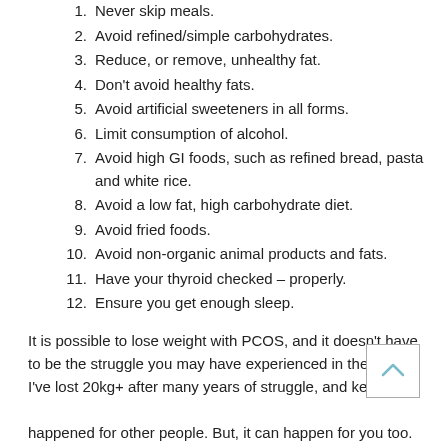1. Never skip meals.
2. Avoid refined/simple carbohydrates.
3. Reduce, or remove, unhealthy fat.
4. Don't avoid healthy fats.
5. Avoid artificial sweeteners in all forms.
6. Limit consumption of alcohol.
7. Avoid high GI foods, such as refined bread, pasta and white rice.
8. Avoid a low fat, high carbohydrate diet.
9. Avoid fried foods.
10. Avoid non-organic animal products and fats.
11. Have your thyroid checked – properly.
12. Ensure you get enough sleep.
It is possible to lose weight with PCOS, and it doesn't have to be the struggle you may have experienced in the past. I've lost 20kg+ after many years of struggle, and kept it off.
happened for other people. But, it can happen for you too.